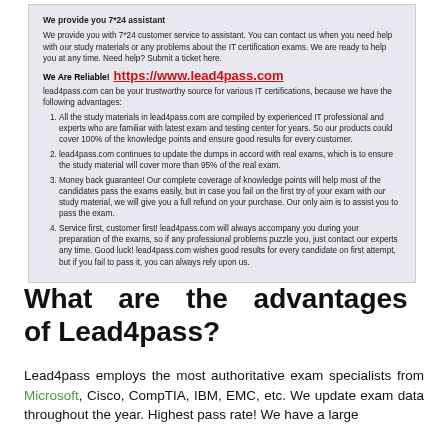We provide you 7*24 assistant
We provide you with 7*24 customer service to assistant. You can contact us when you need help with our study materials or any problems about the IT certification exams. We are ready to help you at any time. Need help? Submit a ticket here.
We Are Reliable!
https://www.lead4pass.com
lead4pass.com can be your trustworthy source for various IT certifications, because we have the following advantages:
All the study materials in lead4pass.com are compiled by experienced IT professional and experts who are familiar with latest exam and testing center for years. So our products could cover 100% of the knowledge points and ensure good results for every customer.
lead4pass.com continues to update the dumps in accord with real exams, which is to ensure the study material will cover more than 95% of the real exam.
Money back guarantee! Our complete coverage of knowledge points will help most of the candidates pass the exams easily, but in case you fail on the first try of your exam with our study material, we will give you a full refund on your purchase. Our only aim is to assist you to pass the exam.
Service first, customer first! lead4pass.com will always accompany you during your preparation of the exams, so if any professional problems puzzle you, just contact our experts any time. Good luck! lead4pass.com wishes good results for every candidate on first attempt, but if you fail to pass it, you can always rely upon us.
What are the advantages of Lead4pass?
Lead4pass employs the most authoritative exam specialists from Microsoft, Cisco, CompTIA, IBM, EMC, etc. We update exam data throughout the year. Highest pass rate! We have a large